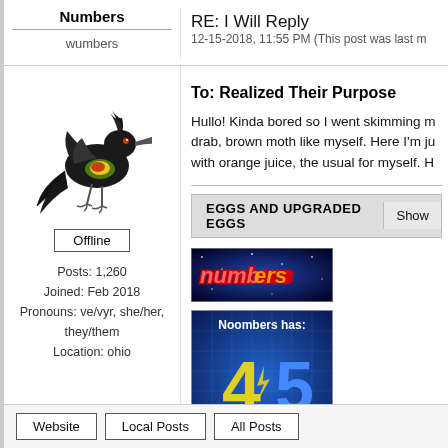Numbers
RE: I Will Reply
wumbers
12-15-2018, 11:55 PM (This post was last m
[Figure (illustration): Black bird with colorful chest feathers, standing sideways]
Offline
Posts: 1,260
Joined: Feb 2018
Pronouns: ve/vyr, she/her, they/them
Location: ohio
To: Realized Their Purpose
Hullo! Kinda bored so I went skimming m... drab, brown moth like myself. Here I'm ju... with orange juice, the usual for myself. H...
[Figure (infographic): EGGS AND UPGRADED EGGS section header with Show button]
[Figure (illustration): Colorful banner image with text 'numbers' in red on dark background]
[Figure (infographic): Blue box showing Noombers has: 45 Internets]
Website   Local Posts   All Posts